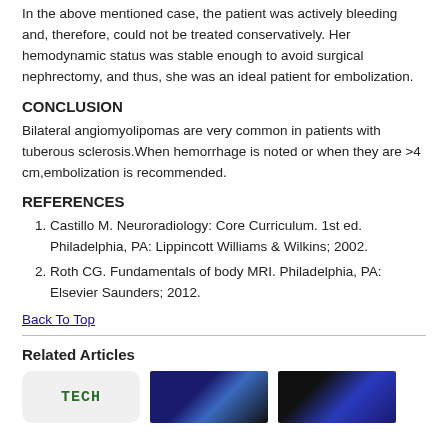In the above mentioned case, the patient was actively bleeding and, therefore, could not be treated conservatively. Her hemodynamic status was stable enough to avoid surgical nephrectomy, and thus, she was an ideal patient for embolization.
CONCLUSION
Bilateral angiomyolipomas are very common in patients with tuberous sclerosis.When hemorrhage is noted or when they are >4 cm,embolization is recommended.
REFERENCES
Castillo M. Neuroradiology: Core Curriculum. 1st ed. Philadelphia, PA: Lippincott Williams & Wilkins; 2002.
Roth CG. Fundamentals of body MRI. Philadelphia, PA: Elsevier Saunders; 2012.
Back To Top
Related Articles
[Figure (logo): Logo image of TECH or similar publication]
[Figure (photo): Blue puzzle piece medical image]
[Figure (photo): Blue puzzle piece medical image 2]